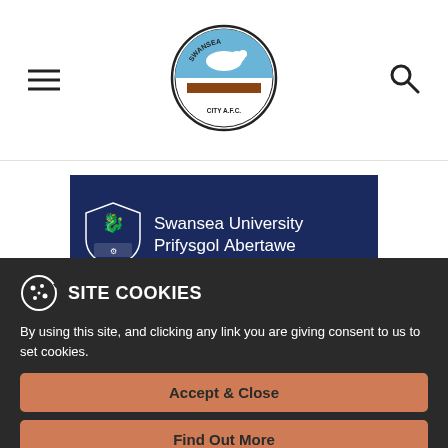Swansea City AFC website header with hamburger menu, club logo, and search icon
[Figure (logo): Swansea University / Prifysgol Abertawe sponsor banner with shield crest on dark navy background]
SITE COOKIES
By using this site, and clicking any link you are giving consent to us to set cookies.
Accept & Close
Find Out More